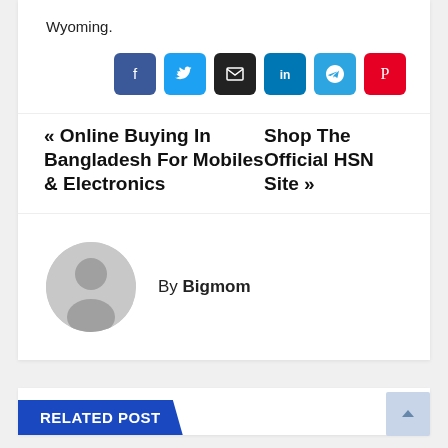Wyoming.
[Figure (infographic): Row of 6 social media share buttons: Facebook (blue), Twitter (light blue), Email (black), LinkedIn (blue), Telegram (cyan), Pinterest (red)]
« Online Buying In Bangladesh For Mobiles & Electronics
Shop The Official HSN Site »
By Bigmom
[Figure (photo): Generic user avatar: grey circle with silhouette of person]
RELATED POST